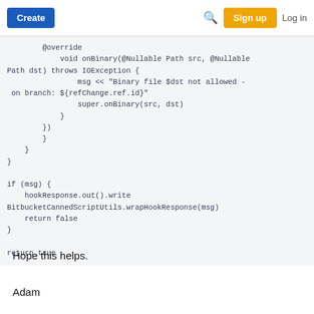Create  [search]  Sign up  Log in
@override
    void onBinary(@Nullable Path src, @Nullable
Path dst) throws IOException {
                msg << "Binary file $dst not allowed -
 on branch: ${refChange.ref.id}"
                super.onBinary(src, dst)
            }
        })
        }
    }
}

if (msg) {
    hookResponse.out().write
BitbucketCannedScriptUtils.wrapHookResponse(msg)
    return false
}

return true
Hope this helps.
Adam